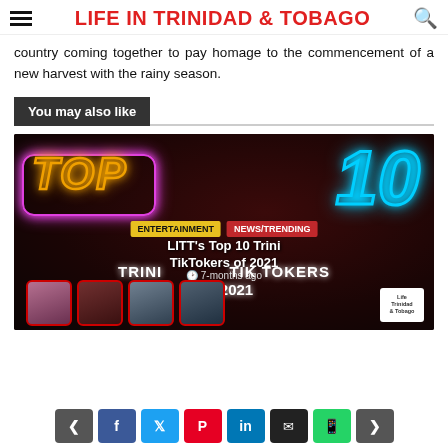LIFE IN TRINIDAD & TOBAGO
country coming together to pay homage to the commencement of a new harvest with the rainy season.
You may also like
[Figure (photo): Thumbnail card for 'LITT's Top 10 Trini TikTokers of 2021' with neon TOP 10 design, ENTERTAINMENT and NEWS/TRENDING tags, 7-months ago timestamp, and four person thumbnails]
Social share bar: prev, Facebook, Twitter, Pinterest, LinkedIn, Email, WhatsApp, next